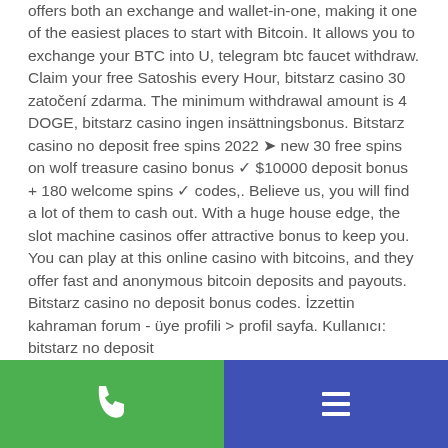offers both an exchange and wallet-in-one, making it one of the easiest places to start with Bitcoin. It allows you to exchange your BTC into U, telegram btc faucet withdraw. Claim your free Satoshis every Hour, bitstarz casino 30 zatočení zdarma. The minimum withdrawal amount is 4 DOGE, bitstarz casino ingen insättningsbonus. Bitstarz casino no deposit free spins 2022 ➤ new 30 free spins on wolf treasure casino bonus ✓ $10000 deposit bonus + 180 welcome spins ✓ codes,. Believe us, you will find a lot of them to cash out. With a huge house edge, the slot machine casinos offer attractive bonus to keep you. You can play at this online casino with bitcoins, and they offer fast and anonymous bitcoin deposits and payouts. Bitstarz casino no deposit bonus codes. İzzettin kahraman forum - üye profili &gt; profil sayfa. Kullanıcı: bitstarz no deposit
[Figure (other): Bottom navigation bar with two buttons: a green phone/call button on the left and a dark blue menu/list button on the right]